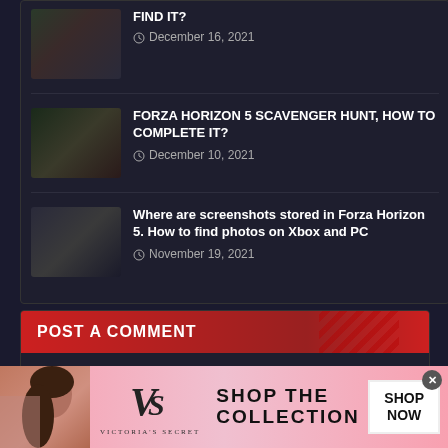[Figure (screenshot): Dark-themed gaming website with article list showing Forza Horizon 5 articles]
FIND IT?
December 16, 2021
FORZA HORIZON 5 SCAVENGER HUNT, HOW TO COMPLETE IT?
December 10, 2021
Where are screenshots stored in Forza Horizon 5. How to find photos on Xbox and PC
November 19, 2021
POST A COMMENT
0 Comments
[Figure (photo): Victoria's Secret advertisement banner with woman model, VS logo, SHOP THE COLLECTION text, and SHOP NOW button]